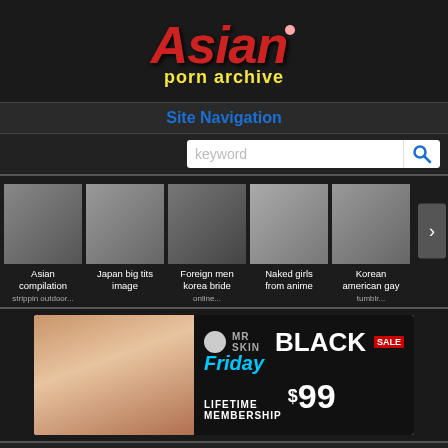[Figure (logo): Asian Porn Archive logo with red stylized 'Asian' text and yellow 'porn archive' subtitle]
Site Navigation
[Figure (screenshot): Search box with keyword placeholder and magnifying glass icon]
[Figure (photo): Five thumbnail images with captions: Asian compilation, Japan big tits image, Foreign men korea bride, Naked girls from anime, Korean american gay]
[Figure (photo): Mr Skin Black Friday Sale - Lifetime Membership $99 advertisement banner]
Anime ninja gif